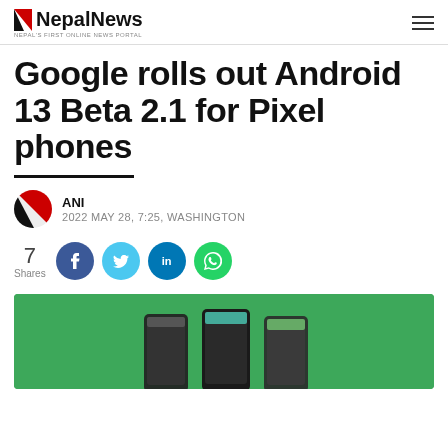NepalNews — NEPAL'S FIRST ONLINE NEWS PORTAL
Google rolls out Android 13 Beta 2.1 for Pixel phones
ANI
2022 MAY 28, 7:25, WASHINGTON
7 Shares
[Figure (photo): Green background with Pixel phones displayed at bottom]